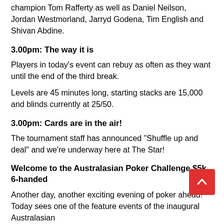champion Tom Rafferty as well as Daniel Neilson, Jordan Westmorland, Jarryd Godena, Tim English and Shivan Abdine.
3.00pm: The way it is
Players in today’s event can rebuy as often as they want until the end of the third break.
Levels are 45 minutes long, starting stacks are 15,000 and blinds currently at 25/50.
3.00pm: Cards are in the air!
The tournament staff has announced “Shuffle up and deal” and we’re underway here at The Star!
Welcome to the Australasian Poker Challenge $5k 6-handed
Another day, another exciting evening of poker ahead! Today sees one of the feature events of the inaugural Australasian